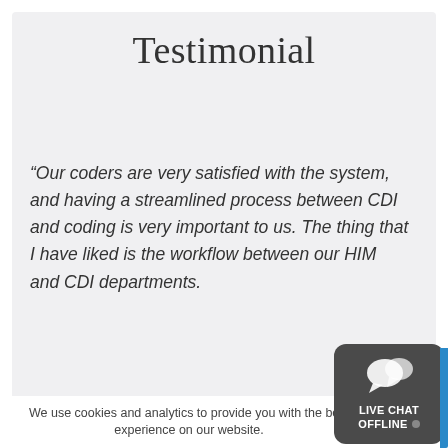Testimonial
“Our coders are very satisfied with the system, and having a streamlined process between CDI and coding is very important to us. The thing that I have liked is the workflow between our HIM and CDI departments.
We use cookies and analytics to provide you with the best experience on our website.